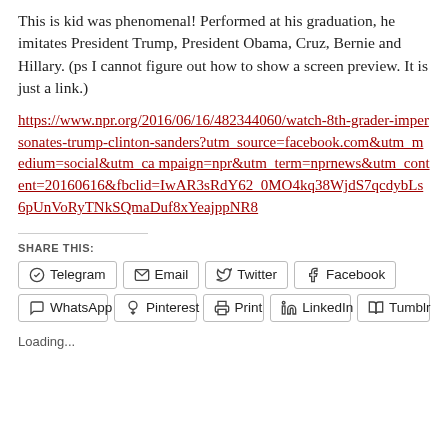This is kid was phenomenal! Performed at his graduation, he imitates President Trump, President Obama, Cruz, Bernie and Hillary. (ps I cannot figure out how to show a screen preview. It is just a link.)
https://www.npr.org/2016/06/16/482344060/watch-8th-grader-impersonates-trump-clinton-sanders?utm_source=facebook.com&utm_medium=social&utm_campaign=npr&utm_term=nprnews&utm_content=20160616&fbclid=IwAR3sRdY62_0MO4kq38WjdS7qcdybLs6pUnVoRyTNkSQmaDuf8xYeajppNR8
SHARE THIS:
Telegram  Email  Twitter  Facebook  WhatsApp  Pinterest  Print  LinkedIn  Tumblr
Loading...